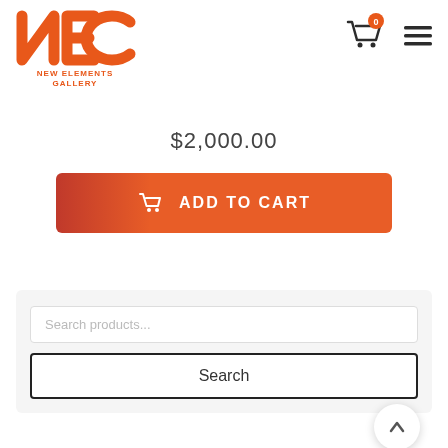[Figure (logo): New Elements Gallery logo - orange NE letters with text 'NEW ELEMENTS GALLERY' below]
[Figure (other): Shopping cart icon with orange badge showing '0']
[Figure (other): Hamburger menu icon (three horizontal lines)]
$2,000.00
[Figure (other): Add to Cart button - orange/red gradient with cart icon and 'ADD TO CART' text]
[Figure (screenshot): Search products input field with placeholder text 'Search products...' and a Search button below]
[Figure (other): Up arrow chevron button (circular white button with shadow)]
Product categories